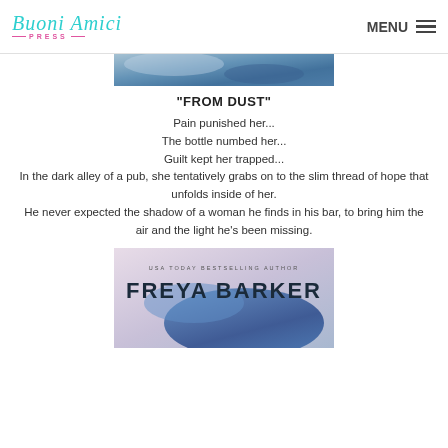Buoni Amici Press — MENU
[Figure (photo): Top portion of a book cover with blue watercolor/abstract design]
“FROM DUST”
Pain punished her...
The bottle numbed her...
Guilt kept her trapped...
In the dark alley of a pub, she tentatively grabs on to the slim thread of hope that unfolds inside of her.
He never expected the shadow of a woman he finds in his bar, to bring him the air and the light he’s been missing.
[Figure (photo): Book cover for 'From Dust' by Freya Barker, USA Today Bestselling Author, with blue watercolor design]